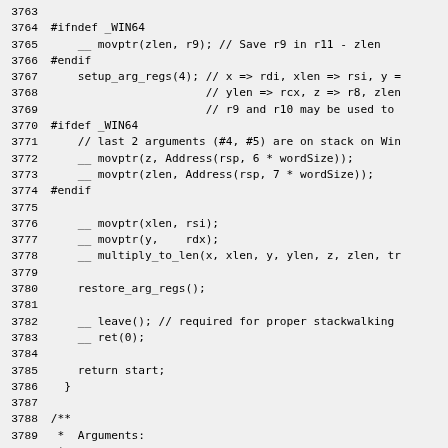3763
3764 #ifndef _WIN64
3765     __ movptr(zlen, r9); // Save r9 in r11 - zlen
3766 #endif
3767     setup_arg_regs(4); // x => rdi, xlen => rsi, y =
3768                        // ylen => rcx, z => r8, zlen
3769                        // r9 and r10 may be used to
3770 #ifdef _WIN64
3771     // last 2 arguments (#4, #5) are on stack on Win
3772     __ movptr(z, Address(rsp, 6 * wordSize));
3773     __ movptr(zlen, Address(rsp, 7 * wordSize));
3774 #endif
3775
3776     __ movptr(xlen, rsi);
3777     __ movptr(y,    rdx);
3778     __ multiply_to_len(x, xlen, y, ylen, z, zlen, tr
3779
3780     restore_arg_regs();
3781
3782     __ leave(); // required for proper stackwalking
3783     __ ret(0);
3784
3785     return start;
3786   }
3787
3788 /**
3789  *  Arguments:
3790  *
3791  // Input:
3792  //    c_rarg0  - x address
3793  //